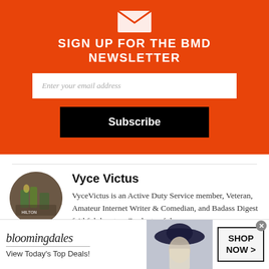[Figure (infographic): Orange newsletter signup box with envelope icon, heading 'SIGN UP FOR THE BMD NEWSLETTER', email input field, and Subscribe button]
SIGN UP FOR THE BMD NEWSLETTER
Enter your email address
Subscribe
[Figure (photo): Circular author avatar photo showing a person near bottles]
Vyce Victus
VyceVictus is an Active Duty Service member, Veteran, Amateur Internet Writer & Comedian, and Badass Digest faithful devotee. Graduate of the
[Figure (infographic): Bloomingdale's advertisement banner: bloomingdales logo, View Today's Top Deals!, woman with hat, SHOP NOW > button]